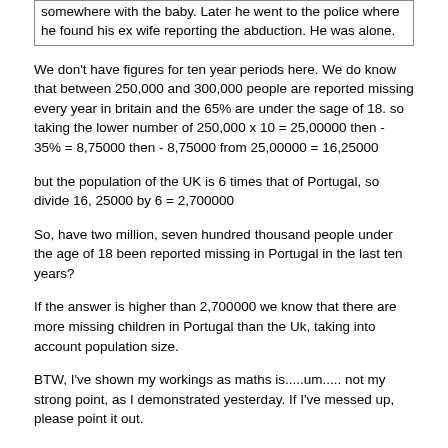somewhere with the baby. Later he went to the police where he found his ex wife reporting the abduction. He was alone.
We don't have figures for ten year periods here. We do know that between 250,000 and 300,000 people are reported missing every year in britain and the 65% are under the sage of 18. so taking the lower number of 250,000 x 10 = 25,00000 then - 35% = 8,75000 then - 8,75000 from 25,00000 = 16,25000
but the population of the UK is 6 times that of Portugal, so divide 16, 25000 by 6 = 2,700000
So, have two million, seven hundred thousand people under the age of 18 been reported missing in Portugal in the last ten years?
If the answer is higher than 2,700000 we know that there are more missing children in Portugal than the Uk, taking into account population size.
BTW, I've shown my workings as maths is.....um..... not my strong point, as I demonstrated yesterday. If I've messed up, please point it out.
Also, if anyone can find the figures for under 18's reported missing in Portugal in the last decade, we can answer the OP.